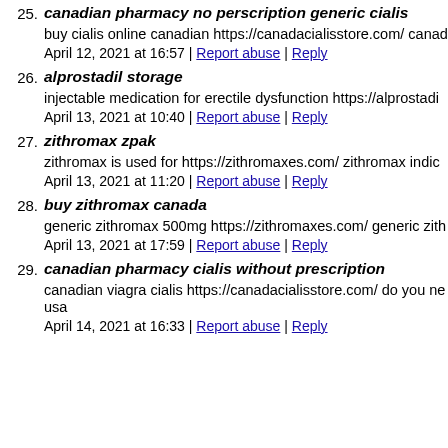25. canadian pharmacy no perscription generic cialis
buy cialis online canadian https://canadacialisstore.com/ canad
April 12, 2021 at 16:57 | Report abuse | Reply
26. alprostadil storage
injectable medication for erectile dysfunction https://alprostadi
April 13, 2021 at 10:40 | Report abuse | Reply
27. zithromax zpak
zithromax is used for https://zithromaxes.com/ zithromax indic
April 13, 2021 at 11:20 | Report abuse | Reply
28. buy zithromax canada
generic zithromax 500mg https://zithromaxes.com/ generic zith
April 13, 2021 at 17:59 | Report abuse | Reply
29. canadian pharmacy cialis without prescription
canadian viagra cialis https://canadacialisstore.com/ do you ne usa
April 14, 2021 at 16:33 | Report abuse | Reply